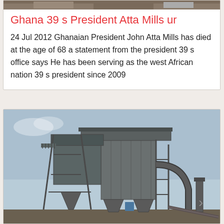[Figure (photo): Partial image at top of page, cropped machinery or crowd scene]
Ghana 39 s President Atta Mills ur
24 Jul 2012 Ghanaian President John Atta Mills has died at the age of 68 a statement from the president 39 s office says He has been serving as the west African nation 39 s president since 2009
[Figure (photo): Industrial plant or factory structure with metal framework, silos, and pipes against a blue sky]